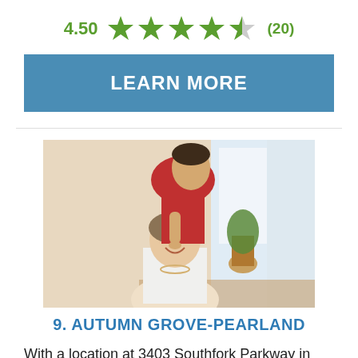4.50 ★★★★½ (20)
LEARN MORE
[Figure (photo): A caregiver standing behind an elderly woman, styling her hair. The elderly woman is smiling. Warm indoor setting with a window in the background.]
9. AUTUMN GROVE-PEARLAND
With a location at 3403 Southfork Parkway in Brazoria county, Autumn Grove-pearland excels at providing assisted care services for elderly